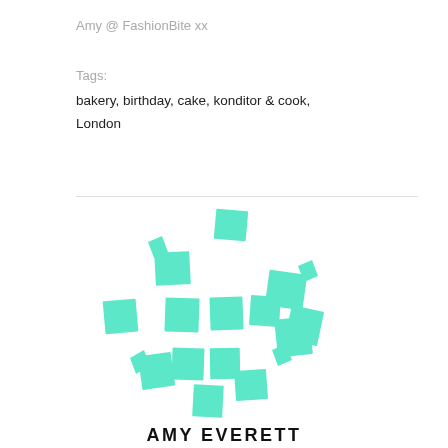Amy @ FashionBite xx
Tags:
bakery, birthday, cake, konditor & cook, London
[Figure (logo): Scattered teal/mint colored squares and arrow-like shapes forming a loose cluster pattern — the FashionBite logo mark]
AMY EVERETT